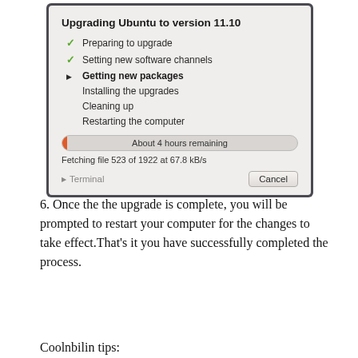[Figure (screenshot): Ubuntu upgrade dialog showing progress. Title: 'Upgrading Ubuntu to version 11.10'. Steps listed with checkmarks for completed items: 'Preparing to upgrade', 'Setting new software channels', arrow pointing to current step 'Getting new packages' (bold), then 'Installing the upgrades', 'Cleaning up', 'Restarting the computer'. Progress bar showing 'About 4 hours remaining'. Status text: 'Fetching file 523 of 1922 at 67.8 kB/s'. Footer with 'Terminal' disclosure and 'Cancel' button.]
6. Once the the upgrade is complete, you will be prompted to restart your computer for the changes to take effect.That's it you have successfully completed the process.
Coolnbilin tips: